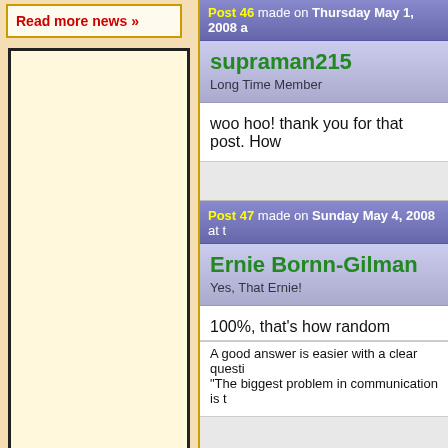Read more news »
Post 46 made on Thursday May 1, 2008 a
supraman215
Long Time Member
woo hoo! thank you for that post. How
Post 47 made on Sunday May 4, 2008 at
Ernie Bornn-Gilman
Yes, That Ernie!
100%, that's how random
A good answer is easier with a clear questi "The biggest problem in communication is t
Post 48 made on Monday June 15, 2020 a